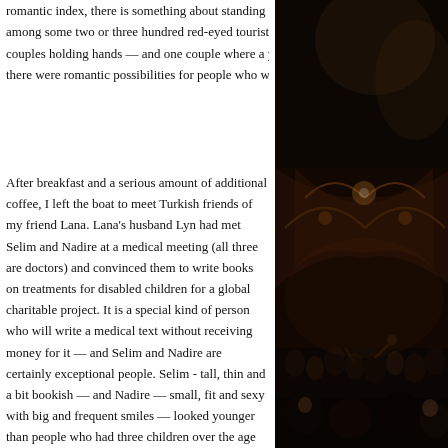romantic index, there is something about standing among some two or three hundred red-eyed tourists that doesn't exactly create an intimate couples holding hands — and one couple where a young woman watched the scenery g there were romantic possibilities for people who were able to shut out the rest of the wor
[Figure (photo): Top right corner photo, partially visible, dark interior scene]
After breakfast and a serious amount of additional coffee, I left the boat to meet Turkish friends of my friend Lana. Lana's husband Lyn had met Selim and Nadire at a medical meeting (all three are doctors) and convinced them to write books on treatments for disabled children for a global charitable project. It is a special kind of person who will write a medical text without receiving money for it — and Selim and Nadire are certainly exceptional people. Selim - tall, thin and a bit bookish — and Nadire — small, fit and sexy with big and frequent smiles — looked younger than people who had three children over the age of sixteen. They were sailors and athletes as well as coauthors and parents and described themselves as centrist Moslems. They whisked me away to the Grand Bazaar.
[Figure (photo): Interior of the Grand Bazaar, Istanbul, showing high vaulted arched ceilings with dim lighting, crowds of people below, colorful and atmospheric interior]
I love the Grand Bazaar. I love the high vaulted ceilings and the branches off the main aisles that beckon with the promise of thousands of new booths. Everywhere you look there are colorful wares competing for y happy just browsing and looking around.